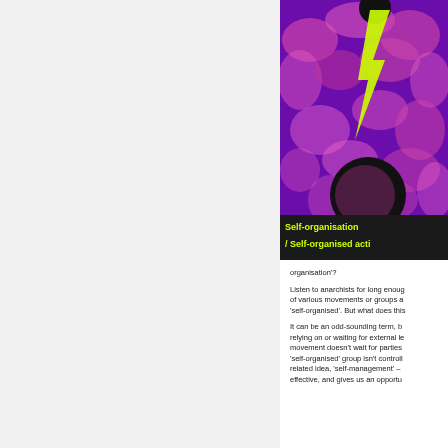[Figure (photo): Book cover with purple and pink abstract imagery, black background title bar with yellow-green text reading 'Self-organisation / Self-organised acti']
organisation'?
Listen to anarchists for long enough and you'll hear members of various movements or groups and activities described as 'self-organised'. But what does this
It can be an odd-sounding term, but it essentially means not relying on or waiting for external leadership or direction. A movement doesn't wait for parties or unions to lead it. A 'self-organised' group isn't controlled from outside. A related idea, 'self-management' – effective, and gives us an opportu